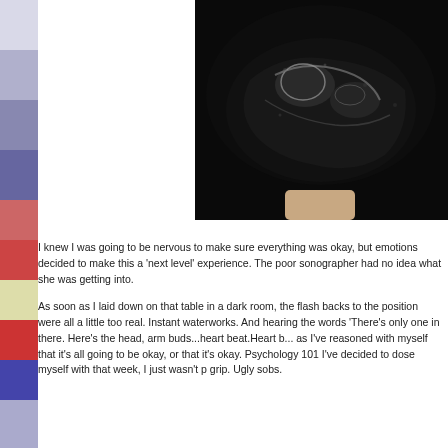[Figure (photo): Ultrasound image showing a dark background with grey fetal form visible in the center-right area. A hand/finger is partially visible at the bottom edge of the image.]
I knew I was going to be nervous to make sure everything was okay, but emotions decided to make this a 'next level' experience. The poor sonographer had no idea what she was getting into.
As soon as I laid down on that table in a dark room, the flash backs to the position were all a little too real. Instant waterworks. And hearing the words 'There's only one in there. Here's the head, arm buds...heart beat.Heart beat.' as I've reasoned with myself that it's all going to be okay, or that it's okay. Psychology 101 I've decided to dose myself with that week, I just wasn't grip. Ugly sobs.